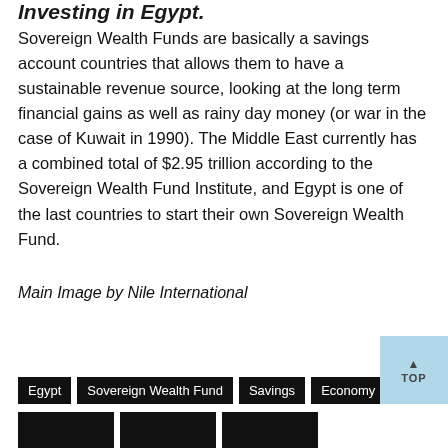Investing in Egypt.
Sovereign Wealth Funds are basically a savings account countries that allows them to have a sustainable revenue source, looking at the long term financial gains as well as rainy day money (or war in the case of Kuwait in 1990). The Middle East currently has a combined total of $2.95 trillion according to the Sovereign Wealth Fund Institute, and Egypt is one of the last countries to start their own Sovereign Wealth Fund.
Main Image by Nile International
Egypt
Sovereign Wealth Fund
Savings
Economy
Parliament